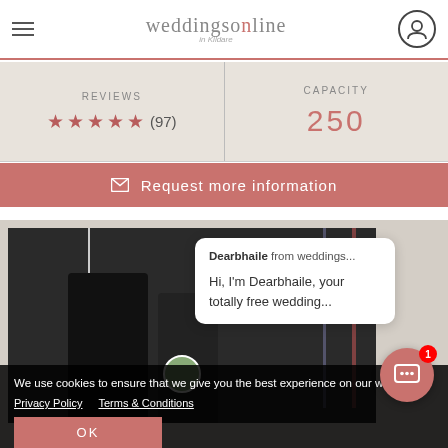weddingsonline in Kildare
REVIEWS ★★★★★ (97)
CAPACITY 250
Request more information
[Figure (photo): Couple at a wedding venue, with a large floral/tassel installation and neon lights in background; chat assistant overlay showing Dearbhaile from weddings... - Hi, I'm Dearbhaile, your totally free wedding...]
We use cookies to ensure that we give you the best experience on our website. Privacy Policy   Terms & Conditions
OK